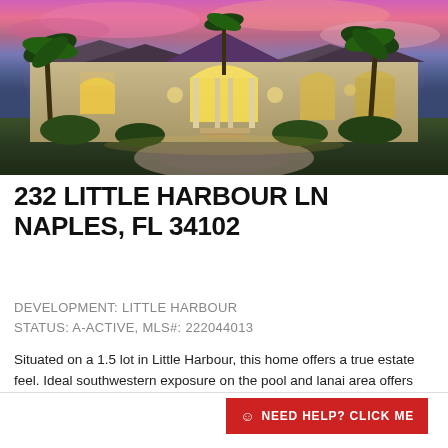[Figure (photo): Luxury estate home at dusk with dramatic purple and pink sunset sky, palm trees, arched entryway, circular driveway, illuminated facade, tile roof]
232 LITTLE HARBOUR LN
NAPLES, FL 34102
DEVELOPMENT: LITTLE HARBOUR
STATUS: A-ACTIVE, MLS#: 222044013
Situated on a 1.5 lot in Little Harbour, this home offers a true estate feel. Ideal southwestern exposure on the pool and lanai area offers sunshine year around. Renovations to the kitchen, ...
☺ NEED HELP? CLICK ME